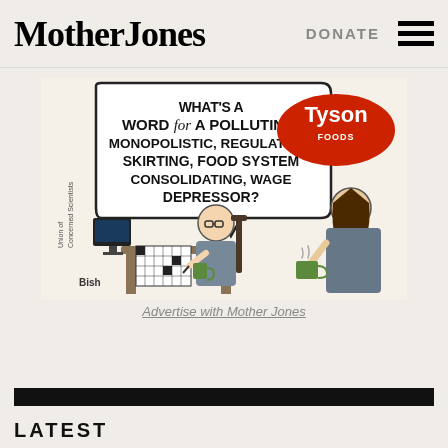Mother Jones | DONATE
[Figure (illustration): Political cartoon showing a man doing a crossword puzzle at a desk, with a speech bubble asking 'WHAT'S A WORD FOR A POLLUTING, MONOPOLISTIC, REGULATION-SKIRTING, FOOD SYSTEM CONSOLIDATING, WAGE DEPRESSOR?' A woman stands nearby holding a coffee mug, with a Tyson logo in a speech bubble from her direction. Credited to Union of Concerned Scientists.]
Advertise with Mother Jones
LATEST